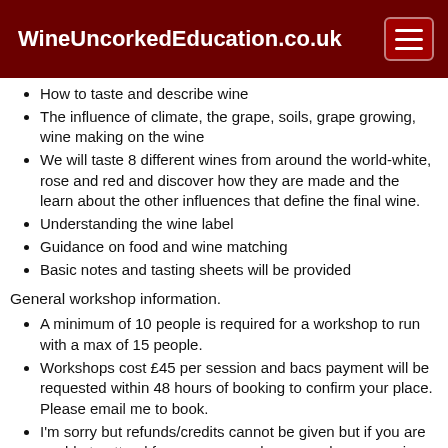WineUncorkedEducation.co.uk
How to taste and describe wine
The influence of climate, the grape, soils, grape growing, wine making on the wine
We will taste 8 different wines from around the world-white, rose and red and discover how they are made and the learn about the other influences that define the final wine.
Understanding the wine label
Guidance on food and wine matching
Basic notes and tasting sheets will be provided
General workshop information.
A minimum of 10 people is required for a workshop to run with a max of 15 people.
Workshops cost £45 per session and bacs payment will be requested within 48 hours of booking to confirm your place. Please email me to book.
I'm sorry but refunds/credits cannot be given but if you are unable to attend for any reason please send someone in your place
ISO Tasting glasses will be provided for you to use during